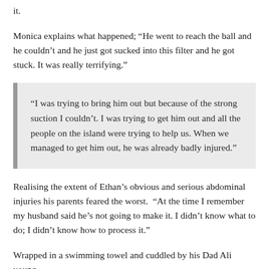it.
Monica explains what happened; “He went to reach the ball and he couldn’t and he just got sucked into this filter and he got stuck. It was really terrifying.”
“I was trying to bring him out but because of the strong suction I couldn’t. I was trying to get him out and all the people on the island were trying to help us. When we managed to get him out, he was already badly injured.”
Realising the extent of Ethan’s obvious and serious abdominal injuries his parents feared the worst.  “At the time I remember my husband said he’s not going to make it. I didn’t know what to do; I didn’t know how to process it.”
Wrapped in a swimming towel and cuddled by his Dad Ali young